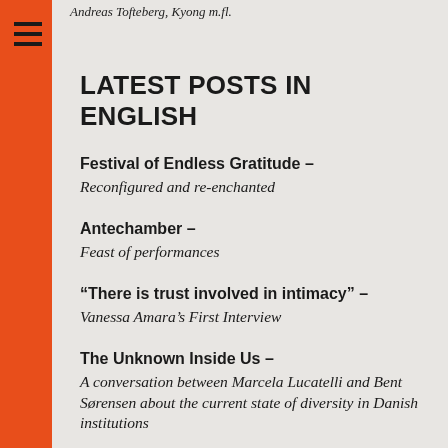Andreas Tofteberg, Kyong m.fl.
LATEST POSTS IN ENGLISH
Festival of Endless Gratitude – Reconfigured and re-enchanted
Antechamber – Feast of performances
“There is trust involved in intimacy” – Vanessa Amara’s First Interview
The Unknown Inside Us – A conversation between Marcela Lucatelli and Bent Sørensen about the current state of diversity in Danish institutions